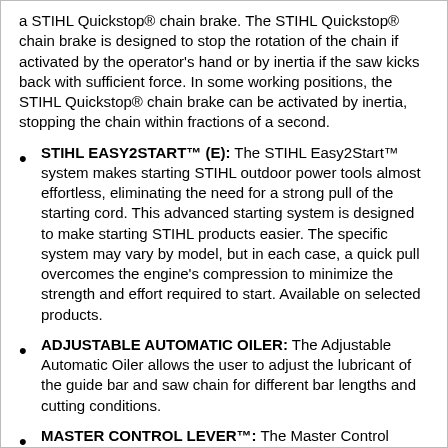a STIHL Quickstop® chain brake. The STIHL Quickstop® chain brake is designed to stop the rotation of the chain if activated by the operator's hand or by inertia if the saw kicks back with sufficient force. In some working positions, the STIHL Quickstop® chain brake can be activated by inertia, stopping the chain within fractions of a second.
STIHL EASY2START™ (E): The STIHL Easy2Start™ system makes starting STIHL outdoor power tools almost effortless, eliminating the need for a strong pull of the starting cord. This advanced starting system is designed to make starting STIHL products easier. The specific system may vary by model, but in each case, a quick pull overcomes the engine's compression to minimize the strength and effort required to start. Available on selected products.
ADJUSTABLE AUTOMATIC OILER: The Adjustable Automatic Oiler allows the user to adjust the lubricant of the guide bar and saw chain for different bar lengths and cutting conditions.
MASTER CONTROL LEVER™: The Master Control